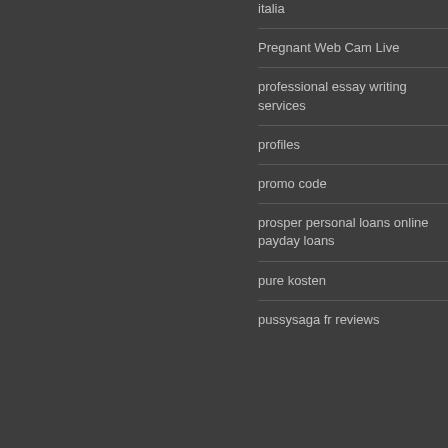positura singlit italia
Pregnant Web Cam Live
professional essay writing services
profiles
promo code
prosper personal loans online payday loans
pure kosten
pussysaga fr reviews